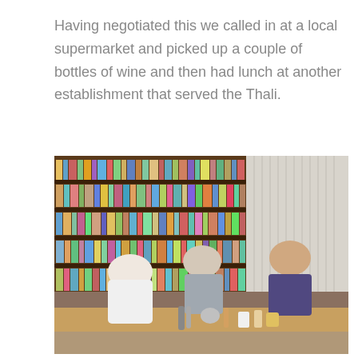Having negotiated this we called in at a local supermarket and picked up a couple of bottles of wine and then had lunch at another establishment that served the Thali.
[Figure (photo): Three people sitting at a low wooden dining table in a restaurant. Shelves filled with books and binders line the wall behind them. A woman with glasses in a white top sits on the left, an older man in a grey shirt sits in the middle, and a younger man in a dark vest over a plaid shirt sits on the right. Various dishes, bottles, and condiments are on the table. White curtains are visible on the right side.]